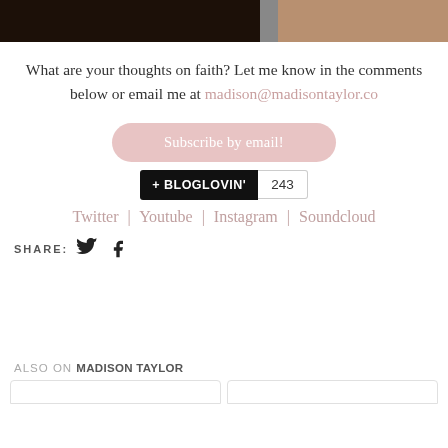[Figure (photo): Dark photo strip showing people in what appears to be a dimly lit indoor setting, partially cropped at the top of the page]
What are your thoughts on faith? Let me know in the comments below or email me at madison@madisontaylor.co
Subscribe by email!
[Figure (other): Bloglovin follow badge showing '+ BLOGLOVIN'' in black and count '243']
Twitter | Youtube | Instagram | Soundcloud
SHARE:
ALSO ON MADISON TAYLOR